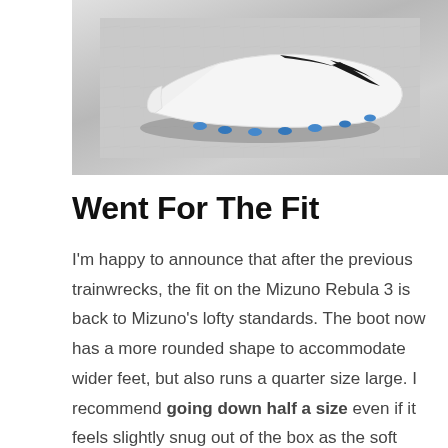[Figure (photo): A white and black Mizuno Rebula 3 football boot (soccer cleat) with blue studs, photographed from above on a grey concrete surface.]
Went For The Fit
I'm happy to announce that after the previous trainwrecks, the fit on the Mizuno Rebula 3 is back to Mizuno's lofty standards. The boot now has a more rounded shape to accommodate wider feet, but also runs a quarter size large. I recommend going down half a size even if it feels slightly snug out of the box as the soft leather will mold to your feet over time